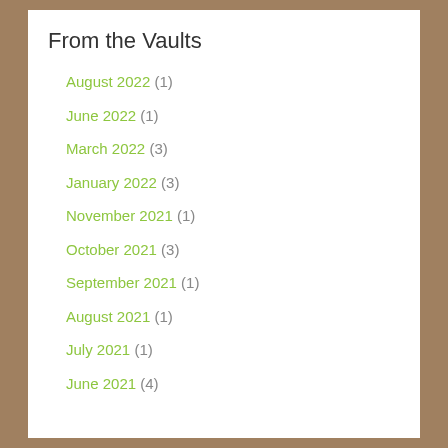From the Vaults
August 2022 (1)
June 2022 (1)
March 2022 (3)
January 2022 (3)
November 2021 (1)
October 2021 (3)
September 2021 (1)
August 2021 (1)
July 2021 (1)
June 2021 (4)